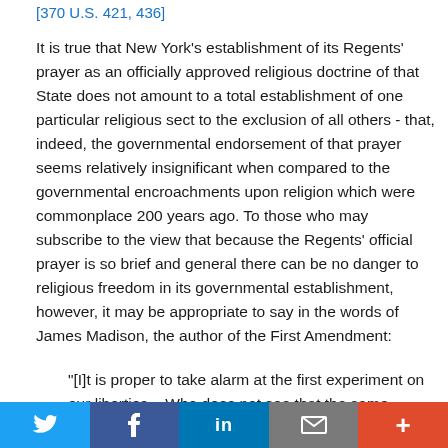[370 U.S. 421, 436]
It is true that New York's establishment of its Regents' prayer as an officially approved religious doctrine of that State does not amount to a total establishment of one particular religious sect to the exclusion of all others - that, indeed, the governmental endorsement of that prayer seems relatively insignificant when compared to the governmental encroachments upon religion which were commonplace 200 years ago. To those who may subscribe to the view that because the Regents' official prayer is so brief and general there can be no danger to religious freedom in its governmental establishment, however, it may be appropriate to say in the words of James Madison, the author of the First Amendment:
"[I]t is proper to take alarm at the first experiment on our liberties...Who does not see that the same authority...
Twitter | Facebook | LinkedIn | Email | More